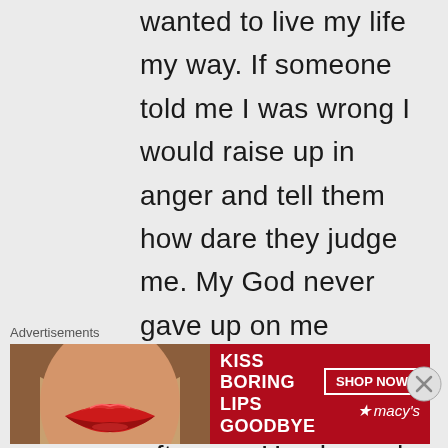wanted to live my life my way. If someone told me I was wrong I would raise up in anger and tell them how dare they judge me. My God never gave up on me though. He chased me, courted me, ran after me. He showed me love and compassion. He forgave a multitude of sins in my life and He continues to forgive me because I am a sinner and very imperfect. I am not
Advertisements
[Figure (infographic): Advertisement banner for Macy's with text 'KISS BORING LIPS GOODBYE' on red background with a woman's face and lips, and a 'SHOP NOW' button with the Macy's star logo]